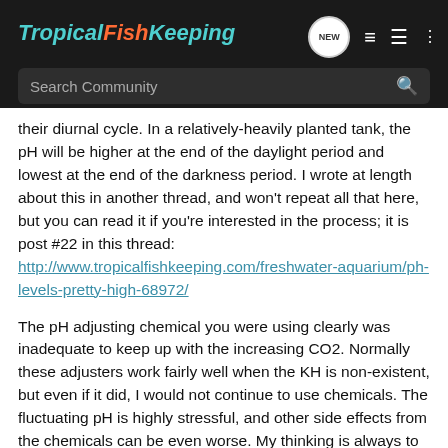TropicalFishKeeping
their diurnal cycle. In a relatively-heavily planted tank, the pH will be higher at the end of the daylight period and lowest at the end of the darkness period. I wrote at length about this in another thread, and won't repeat all that here, but you can read it if you're interested in the process; it is post #22 in this thread: http://www.tropicalfishkeeping.com/freshwater-aquarium/ph-levels-pretty-high-68972/
The pH adjusting chemical you were using clearly was inadequate to keep up with the increasing CO2. Normally these adjusters work fairly well when the KH is non-existent, but even if it did, I would not continue to use chemicals. The fluctuating pH is highly stressful, and other side effects from the chemicals can be even worse. My thinking is always to put as little stuff in an aquarium as possible, and let nature do the work which will